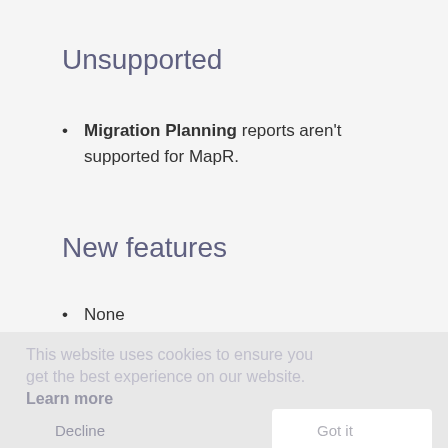Unsupported
Migration Planning reports aren't supported for MapR.
New features
None
Improvements
None
Bug fixes